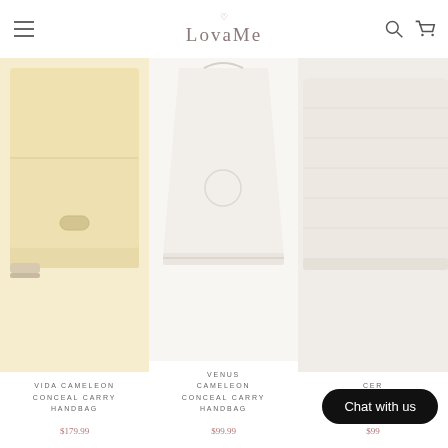LovaMe
[Figure (photo): Cream/beige colored handbag product photo]
VIDA CAMELEON CONCEAL CARRY HANDBAG
$179.99
[Figure (photo): White tote-style handbag product photo]
VENUS CAMELEON CONCEAL CARRY HANDBAG
$99.99
[Figure (photo): White/cream structured handbag product photo (partially cropped)]
CER... CONCE... CARRY HA...
$99...
Chat with us